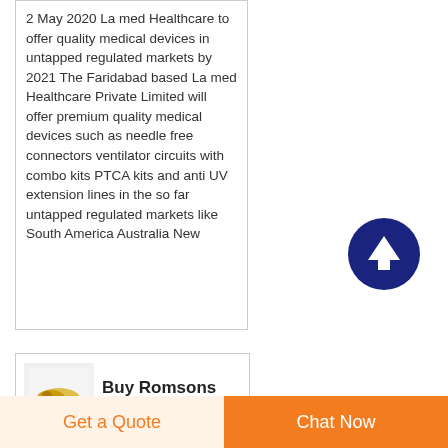2 May 2020 La med Healthcare to offer quality medical devices in untapped regulated markets by 2021 The Faridabad based La med Healthcare Private Limited will offer premium quality medical devices such as needle free connectors ventilator circuits with combo kits PTCA kits and anti UV extension lines in the so far untapped regulated markets like South America Australia New
[Figure (other): Dark navy blue circular scroll-to-top button with white upward arrow icon]
[Figure (photo): Small thumbnail image of medical micro infusion product with golden/yellow product on light background]
Buy Romsons Micro Infusion
Get a Quote
Chat Now